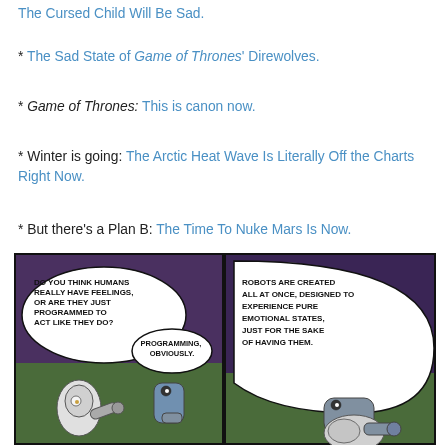The Cursed Child Will Be Sad.
* The Sad State of Game of Thrones' Direwolves.
* Game of Thrones: This is canon now.
* Winter is going: The Arctic Heat Wave Is Literally Off the Charts Right Now.
* But there's a Plan B: The Time To Nuke Mars Is Now.
[Figure (illustration): Two-panel comic strip showing two robots lying on a green surface against a purple background. Left panel: one robot says 'Do you think humans really have feelings, or are they just programmed to act like they do?' and the other replies 'Programming, obviously.' Right panel: speech bubble reads 'Robots are created all at once, designed to experience pure emotional states, just for the sake of having them.']